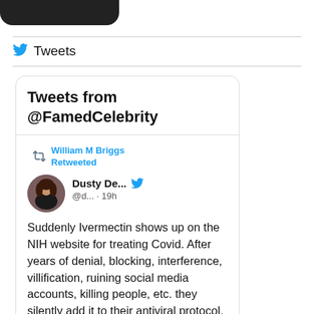[Figure (other): Black rounded rectangle bar at top (partial UI element)]
Tweets
Tweets from @FamedCelebrity
William M Briggs Retweeted
Dusty De... @d... · 19h
Suddenly Ivermectin shows up on the NIH website for treating Covid. After years of denial, blocking, interference, villification, ruining social media accounts, killing people, etc. they silently add it to their antiviral protocol.